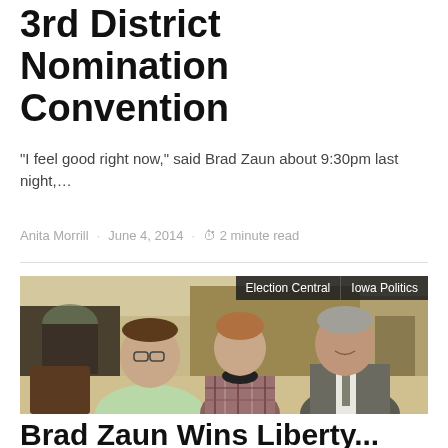3rd District Nomination Convention
“I feel good right now,” said Brad Zaun about 9:30pm last night,…
Anita Morrill · June 4, 2014 · ⏱ 2 minute read
[Figure (photo): Three men in a hotel ballroom or conference room: a man in a light green shirt, a younger man in a plaid shirt, and a man in a suit, appearing to converse. Tags overlay: 'Election Central' and 'Iowa Politics'.]
Brad Zaun Wins Liberty...